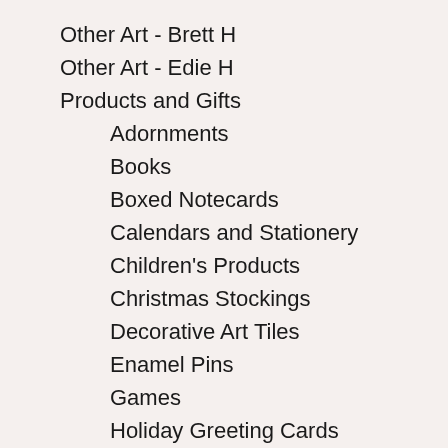Other Art - Brett H
Other Art - Edie H
Products and Gifts
Adornments
Books
Boxed Notecards
Calendars and Stationery
Children's Products
Christmas Stockings
Decorative Art Tiles
Enamel Pins
Games
Holiday Greeting Cards
Kitchen & Entertaining
Notecards
Puzzles
Skateboard Decks
Window Decals